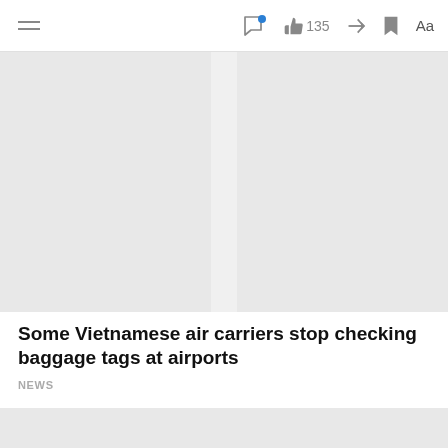135
[Figure (photo): Large grey placeholder image area at the top of a news article]
Some Vietnamese air carriers stop checking baggage tags at airports
NEWS
[Figure (photo): Grey placeholder image area for a second article or continuation]